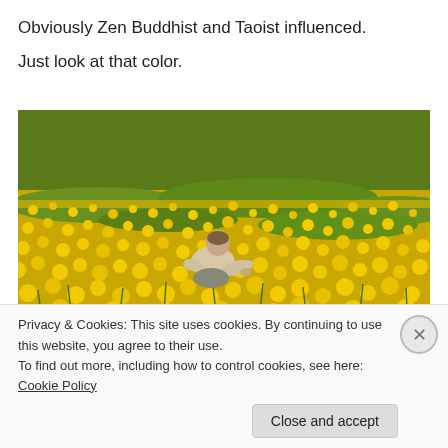Obviously Zen Buddhist and Taoist influenced.
Just look at that color.
[Figure (photo): A person crouching in a vast field of yellow dandelion flowers with green grass, viewed from a distance. The field is dense with blooms.]
Privacy & Cookies: This site uses cookies. By continuing to use this website, you agree to their use.
To find out more, including how to control cookies, see here: Cookie Policy
Close and accept